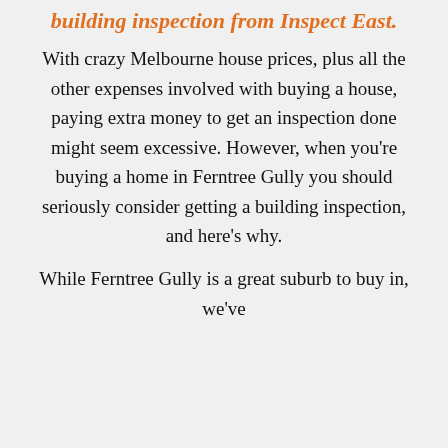building inspection from Inspect East.
With crazy Melbourne house prices, plus all the other expenses involved with buying a house, paying extra money to get an inspection done might seem excessive. However, when you're buying a home in Ferntree Gully you should seriously consider getting a building inspection, and here's why.
While Ferntree Gully is a great suburb to buy in, we've